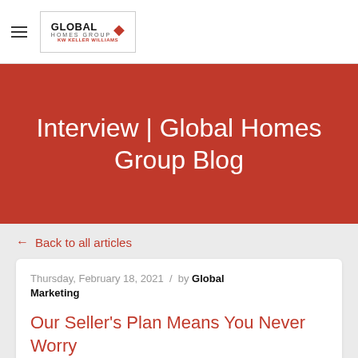[Figure (logo): Global Homes Group logo with globe icon and KW Keller Williams branding]
Interview | Global Homes Group Blog
← Back to all articles
Thursday, February 18, 2021 / by Global Marketing
Our Seller's Plan Means You Never Worry